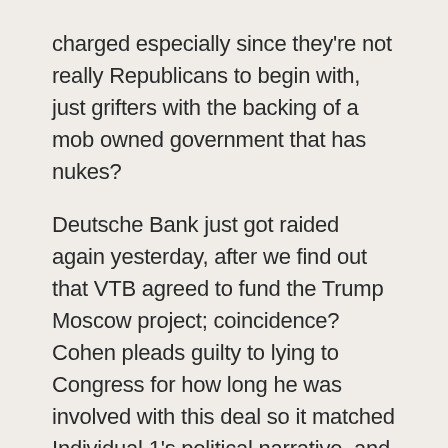charged especially since they're not really Republicans to begin with, just grifters with the backing of a mob owned government that has nukes?
Deutsche Bank just got raided again yesterday, after we find out that VTB agreed to fund the Trump Moscow project; coincidence? Cohen pleads guilty to lying to Congress for how long he was involved with this deal so it matched Individual 1's political narrative, and now maybe this deal might have still been going on after he was elected through others??! Let alone that those working to throw the election from Russia were also aware of the Trump Moscow deal too?? What?!...